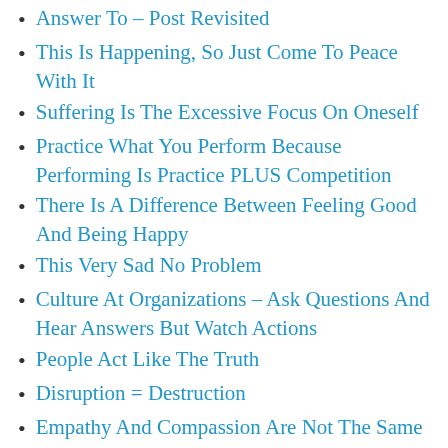Answer To – Post Revisited
This Is Happening, So Just Come To Peace With It
Suffering Is The Excessive Focus On Oneself
Practice What You Perform Because Performing Is Practice PLUS Competition
There Is A Difference Between Feeling Good And Being Happy
This Very Sad No Problem
Culture At Organizations – Ask Questions And Hear Answers But Watch Actions
People Act Like The Truth
Disruption = Destruction
Empathy And Compassion Are Not The Same Things
Listening And Hearing Are Not The Same